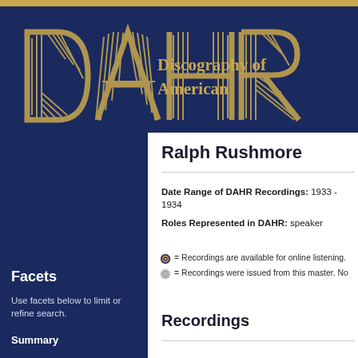[Figure (logo): DAHR logo with stylized letters in gold on dark navy background, with text 'Discography of American Historical Recordings']
Ralph Rushmore
Date Range of DAHR Recordings: 1933 - 1934
Roles Represented in DAHR: speaker
= Recordings are available for online listening.
= Recordings were issued from this master. No...
Recordings
Facets
Use facets below to limit or refine search.
Summary